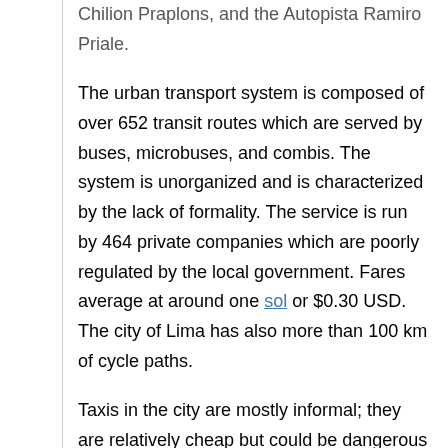Chilion Praplons, and the Autopista Ramiro Priale.
The urban transport system is composed of over 652 transit routes which are served by buses, microbuses, and combis. The system is unorganized and is characterized by the lack of formality. The service is run by 464 private companies which are poorly regulated by the local government. Fares average at around one sol or $0.30 USD. The city of Lima has also more than 100 km of cycle paths.
Taxis in the city are mostly informal; they are relatively cheap but could be dangerous (mostly because of the way the "taxistas" drive). There are no meters so drivers are told the desired destination and the fare is agreed upon before the